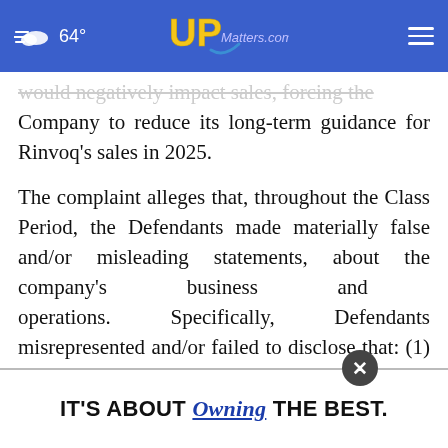64° UPMatters.com
would negatively impact sales, forcing the Company to reduce its long-term guidance for Rinvoq's sales in 2025.
The complaint alleges that, throughout the Class Period, the Defendants made materially false and/or misleading statements, about the company's business and operations. Specifically, Defendants misrepresented and/or failed to disclose that: (1) safety concerns about Xeljan... JAK inhib... t the
[Figure (other): Advertisement banner reading IT'S ABOUT Owning THE BEST. with a close button overlay]